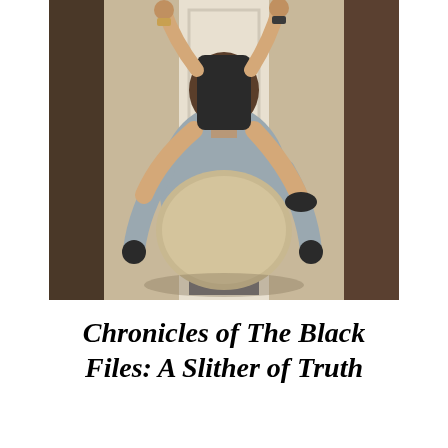[Figure (photo): A photograph showing two people from behind, a man in a grey shirt holding a round tray or shield, with a woman sitting on his shoulders or back, both with arms raised, in an indoor setting with a white door in the background.]
Chronicles of The Black Files: A Slither of Truth